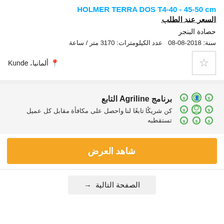HOLMER TERRA DOS T4-40 - 45-50 cm
السعر عند الطلب
حصادة البنجر
سنة: 2018-08-08  عدد الكيلومترات: 3170 متر / ساعة
ألمانيا، Kunde
برنامج Agriline التابع
كن شريكًا تابعًا لنا واحصل على مكافأة مقابل كل عميل تستقطبه
شاهد العرض
الصفحة التالية →